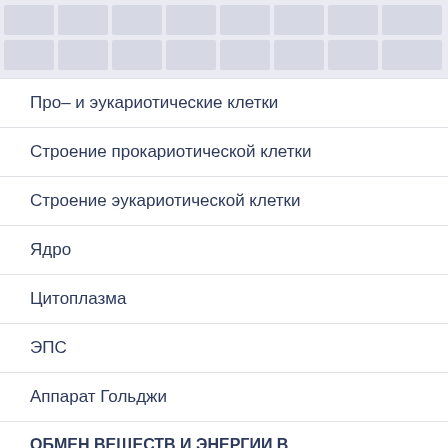[grid pattern header image]
Про– и эукариотические клетки
Строение прокариотической клетки
Строение эукариотической клетки
Ядро
Цитоплазма
ЭПС
Аппарат Гольджи
ОБМЕН ВЕЩЕСТВ И ЭНЕРГИИ В